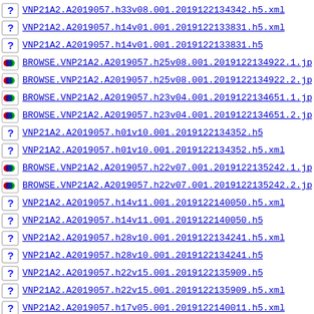VNP21A2.A2019057.h33v08.001.2019122134342.h5.xml
VNP21A2.A2019057.h14v01.001.2019122133831.h5.xml
VNP21A2.A2019057.h14v01.001.2019122133831.h5
BROWSE.VNP21A2.A2019057.h25v08.001.2019122134922.1.jp
BROWSE.VNP21A2.A2019057.h25v08.001.2019122134922.2.jp
BROWSE.VNP21A2.A2019057.h23v04.001.2019122134651.1.jp
BROWSE.VNP21A2.A2019057.h23v04.001.2019122134651.2.jp
VNP21A2.A2019057.h01v10.001.2019122134352.h5
VNP21A2.A2019057.h01v10.001.2019122134352.h5.xml
BROWSE.VNP21A2.A2019057.h22v07.001.2019122135242.1.jp
BROWSE.VNP21A2.A2019057.h22v07.001.2019122135242.2.jp
VNP21A2.A2019057.h14v11.001.2019122140050.h5.xml
VNP21A2.A2019057.h14v11.001.2019122140050.h5
VNP21A2.A2019057.h28v10.001.2019122134241.h5.xml
VNP21A2.A2019057.h28v10.001.2019122134241.h5
VNP21A2.A2019057.h22v15.001.2019122135909.h5
VNP21A2.A2019057.h22v15.001.2019122135909.h5.xml
VNP21A2.A2019057.h17v05.001.2019122140011.h5.xml